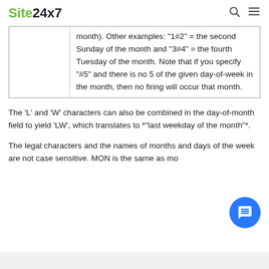Site24x7
|  | month). Other examples: "1#2" = the second Sunday of the month and "3#4" = the fourth Tuesday of the month. Note that if you specify "#5" and there is no 5 of the given day-of-week in the month, then no firing will occur that month. |
The 'L' and 'W' characters can also be combined in the day-of-month field to yield 'LW', which translates to *"last weekday of the month"*.
The legal characters and the names of months and days of the week are not case sensitive. MON is the same as mo...